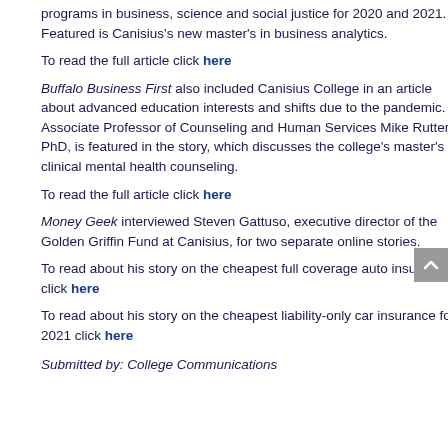programs in business, science and social justice for 2020 and 2021.  Featured is Canisius's new master's in business analytics.
To read the full article click here
Buffalo Business First also included Canisius College in an article about advanced education interests and shifts due to the pandemic.  Associate Professor of Counseling and Human Services Mike Rutter, PhD, is featured in the story, which discusses the college's master's in clinical mental health counseling.
To read the full article click here
Money Geek interviewed Steven Gattuso, executive director of the Golden Griffin Fund at Canisius, for two separate online stories.
To read about his story on the cheapest full coverage auto insurance click here
To read about his story on the cheapest liability-only car insurance for 2021 click here
Submitted by: College Communications